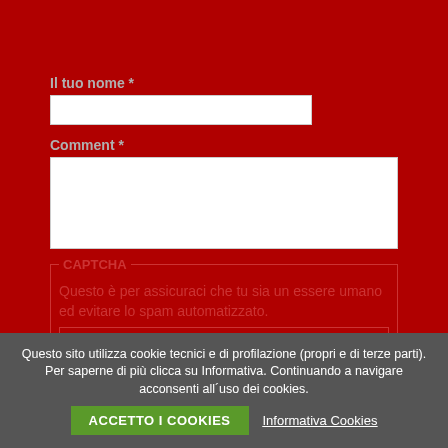Il tuo nome *
[Figure (screenshot): White input text field for nome (name)]
Comment *
[Figure (screenshot): White textarea for comment input with resize handle]
CAPTCHA — Questo è per assicuraci che tu sia un essere umano ed evitare lo spam automatizzato.
Questo sito utilizza cookie tecnici e di profilazione (propri e di terze parti). Per saperne di più clicca su Informativa. Continuando a navigare acconsenti all´uso dei cookies.
ACCETTO I COOKIES
Informativa Cookies